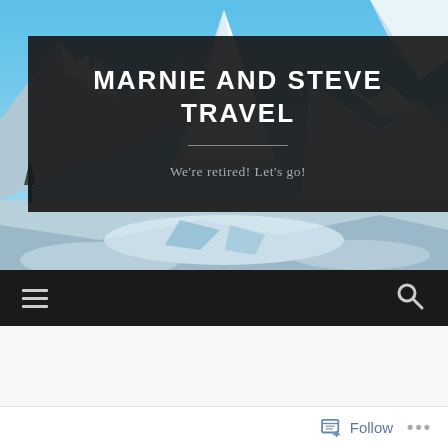[Figure (photo): Mountain landscape with snow-capped peaks and blue sky, used as hero background for a travel blog]
MARNIE AND STEVE TRAVEL
We're retired! Let's go!
[Figure (infographic): Dark navigation bar with hamburger menu icon on left and search icon on right]
Follow ...